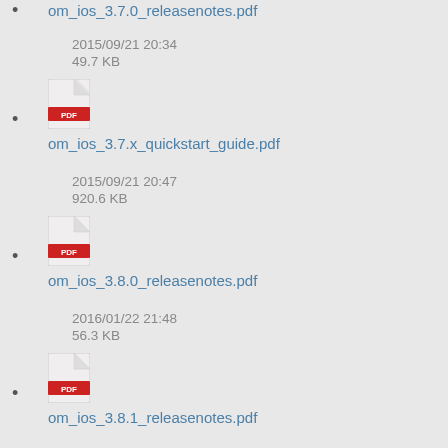om_ios_3.7.0_releasenotes.pdf
2015/09/21 20:34
49.7 KB
om_ios_3.7.x_quickstart_guide.pdf
2015/09/21 20:47
920.6 KB
om_ios_3.8.0_releasenotes.pdf
2016/01/22 21:48
56.3 KB
om_ios_3.8.1_releasenotes.pdf
2016/01/28 18:50